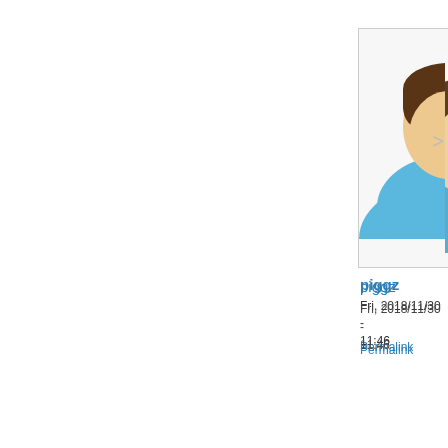[Figure (illustration): Default user avatar icon - person silhouette with brown hair and blue shirt, inside a light grey bordered box, first user card (piggz)]
piggz
Fri, 2018/11/30 - 11:46
Permalink
[Figure (illustration): Default user avatar icon - person silhouette with brown hair and blue shirt, inside a light grey bordered box, second user card (Caluna), partially cropped on right side]
Caluna
Fri, 2018/11/30 - 15:13
Permalink